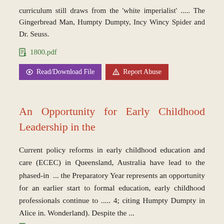curriculum still draws from the 'white imperialist' ..... The Gingerbread Man, Humpty Dumpty, Incy Wincy Spider and Dr. Seuss.
1800.pdf
Read/Download File   Report Abuse
An Opportunity for Early Childhood Leadership in the
Current policy reforms in early childhood education and care (ECEC) in Queensland, Australia have lead to the phased-in ... the Preparatory Year represents an opportunity for an earlier start to formal education, early childhood professionals continue to ..... 4; citing Humpty Dumpty in Alice in. Wonderland). Despite the ...
ciec20078150